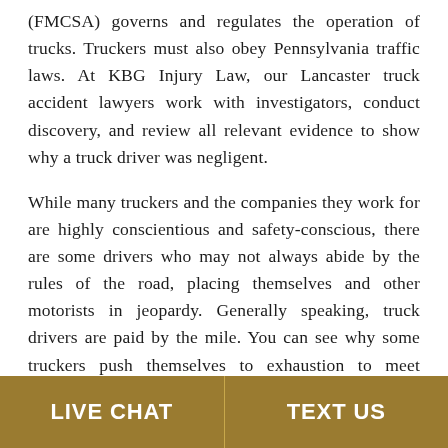(FMCSA) governs and regulates the operation of trucks. Truckers must also obey Pennsylvania traffic laws. At KBG Injury Law, our Lancaster truck accident lawyers work with investigators, conduct discovery, and review all relevant evidence to show why a truck driver was negligent.
While many truckers and the companies they work for are highly conscientious and safety-conscious, there are some drivers who may not always abide by the rules of the road, placing themselves and other motorists in jeopardy. Generally speaking, truck drivers are paid by the mile. You can see why some truckers push themselves to exhaustion to meet demanding schedules and achieve their mileage.
LIVE CHAT | TEXT US